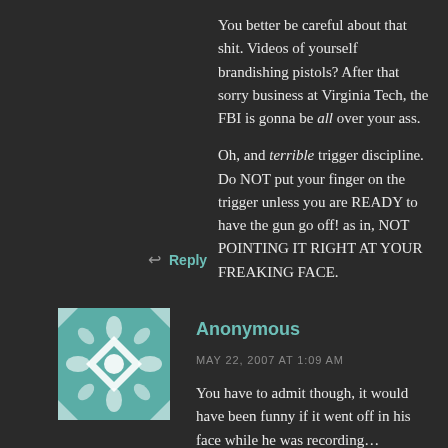You better be careful about that shit. Videos of yourself brandishing pistols? After that sorry business at Virginia Tech, the FBI is gonna be all over your ass.

Oh, and terrible trigger discipline. Do NOT put your finger on the trigger unless you are READY to have the gun go off! as in, NOT POINTING IT RIGHT AT YOUR FREAKING FACE.
↩ Reply
[Figure (illustration): Avatar image - decorative tile pattern in teal/white geometric design]
Anonymous
MAY 22, 2007 AT 1:09 AM
You have to admit though, it would have been funny if it went off in his face while he was recording…